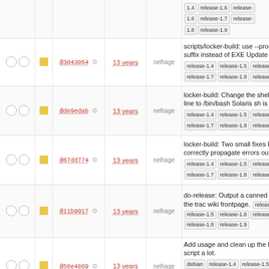|  |  | hash | age | author | message |
| --- | --- | --- | --- | --- | --- |
| ○○ | ■ | @3043064 | 13 years | nelhage | scripts/locker-build: use --program-suffix instead of EXE Update our ... release-1.4 release-1.5 release-1.6 release-1.7 release-1.8 release-1.9 |
| ○○ | ■ | @de9edab | 13 years | nelhage | locker-build: Change the shebang line to /bin/bash Solaris sh is just ... release-1.4 release-1.5 release-1.6 release-1.7 release-1.8 release-1.9 |
| ○○ | ■ | @67dd774 | 13 years | nelhage | locker-build: Two small fixes First, correctly propagate errors out ... release-1.4 release-1.5 release-1.6 release-1.7 release-1.8 release-1.9 |
| ○○ | ■ | @11b9017 | 13 years | nelhage | do-release: Output a canned line for the trac wiki frontpage. release-1.4 release-1.5 release-1.6 release-1.7 release-1.8 release-1.9 |
| ○○ | ■ | @56e4869 | 13 years | nelhage | Add usage and clean up the build script a lot. debian release-1.4 release-1.5 release-1.6 release-1.7 release-1.8 release-1.9 |
| ○○ | ■ |  |  |  | Import barnowl-locker-* from /mit/nelhage/bin/ |